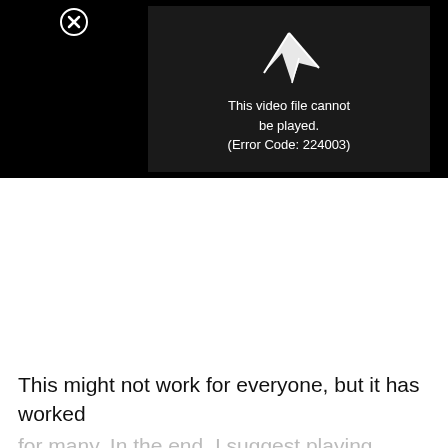[Figure (screenshot): Video player showing error message: 'This video file cannot be played. (Error Code: 224003)' on a black background with a close button (X in circle) in the top left.]
This might not work for everyone, but it has worked for many. In the end, I suggest playing around with this setting until you find that sweet spot.